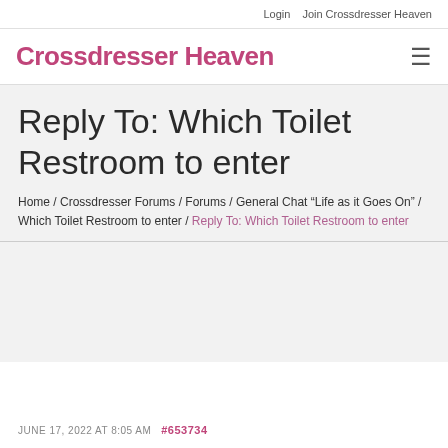Login   Join Crossdresser Heaven
Crossdresser Heaven
Reply To: Which Toilet Restroom to enter
Home / Crossdresser Forums / Forums / General Chat “Life as it Goes On” / Which Toilet Restroom to enter / Reply To: Which Toilet Restroom to enter
JUNE 17, 2022 AT 8:05 AM  #653734